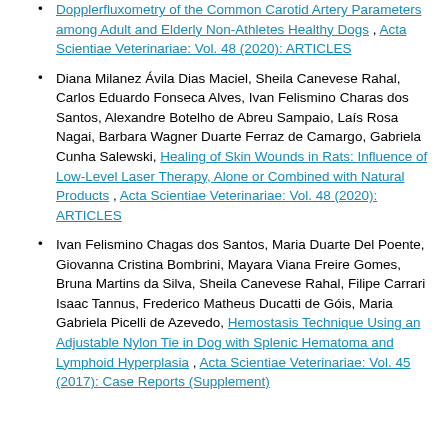Dopplerfluxometry of the Common Carotid Artery Parameters among Adult and Elderly Non-Athletes Healthy Dogs , Acta Scientiae Veterinariae: Vol. 48 (2020): ARTICLES
Diana Milanez Ávila Dias Maciel, Sheila Canevese Rahal, Carlos Eduardo Fonseca Alves, Ivan Felismino Charas dos Santos, Alexandre Botelho de Abreu Sampaio, Laís Rosa Nagai, Barbara Wagner Duarte Ferraz de Camargo, Gabriela Cunha Salewski, Healing of Skin Wounds in Rats: Influence of Low-Level Laser Therapy, Alone or Combined with Natural Products , Acta Scientiae Veterinariae: Vol. 48 (2020): ARTICLES
Ivan Felismino Chagas dos Santos, Maria Duarte Del Poente, Giovanna Cristina Bombrini, Mayara Viana Freire Gomes, Bruna Martins da Silva, Sheila Canevese Rahal, Filipe Carrari Isaac Tannus, Frederico Matheus Ducatti de Góis, Maria Gabriela Picelli de Azevedo, Hemostasis Technique Using an Adjustable Nylon Tie in Dog with Splenic Hematoma and Lymphoid Hyperplasia , Acta Scientiae Veterinariae: Vol. 45 (2017): Case Reports (Supplement)